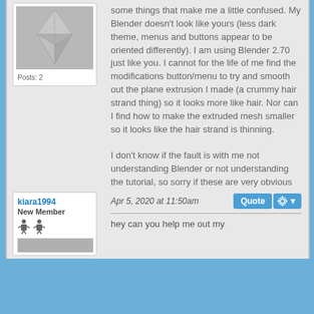[Figure (illustration): A crystal/gem shaped like the Sims plumbob, gray background]
Posts: 2
some things that make me a little confused. My Blender doesn't look like yours (less dark theme, menus and buttons appear to be oriented differently). I am using Blender 2.70 just like you. I cannot for the life of me find the modifications button/menu to try and smooth out the plane extrusion I made (a crummy hair strand thing) so it looks more like hair. Nor can I find how to make the extruded mesh smaller so it looks like the hair strand is thinning.

I don't know if the fault is with me not understanding Blender or not understanding the tutorial, so sorry if these are very obvious questions.
kiara1994
New Member
Apr 5, 2020 at 11:50am
hey can you help me out my